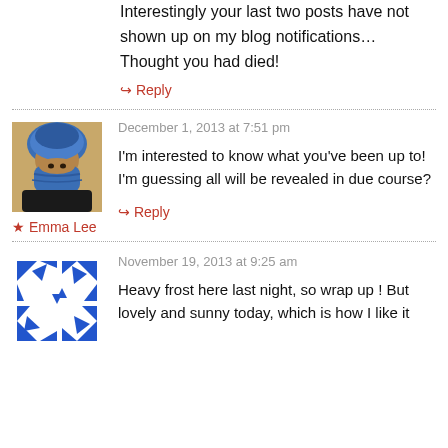Interestingly your last two posts have not shown up on my blog notifications… Thought you had died!
↪ Reply
[Figure (photo): Avatar photo of Emma Lee: person wearing blue headwrap/scarf covering face, outdoors]
★ Emma Lee
December 1, 2013 at 7:51 pm
I'm interested to know what you've been up to! I'm guessing all will be revealed in due course?
↪ Reply
[Figure (illustration): Avatar: blue and white geometric/triangular pattern on square background]
November 19, 2013 at 9:25 am
Heavy frost here last night, so wrap up ! But lovely and sunny today, which is how I like it